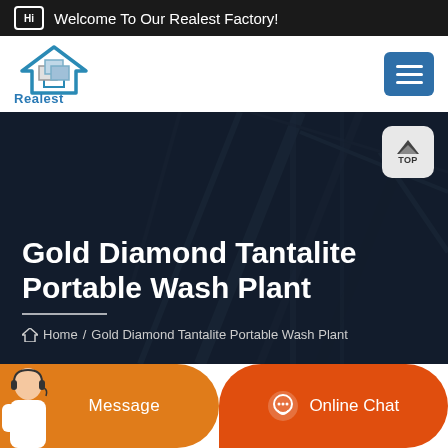Welcome To Our Realest Factory!
[Figure (logo): Realest company logo - house icon with teal and grey colors, text 'Realest' below]
Gold Diamond Tantalite Portable Wash Plant
Home / Gold Diamond Tantalite Portable Wash Plant
[Figure (screenshot): Customer service representative and Online Chat button at the bottom]